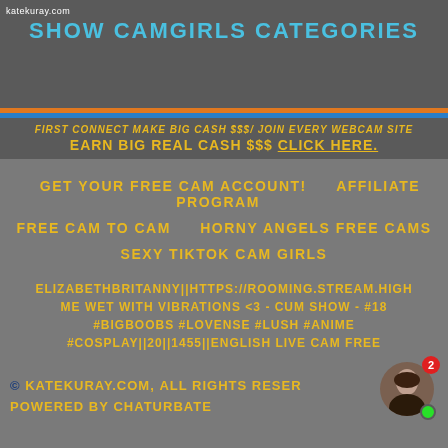katekuray.com
SHOW CAMGIRLS CATEGORIES
EARN BIG REAL CASH $$$ CLICK HERE.
GET YOUR FREE CAM ACCOUNT!   AFFILIATE PROGRAM
FREE CAM TO CAM     HORNY ANGELS FREE CAMS
SEXY TIKTOK CAM GIRLS
ELIZABETHBRITANNY||HTTPS://ROOMING.STREAM.HIGH ME WET WITH VIBRATIONS <3 - CUM SHOW - #18 #BIGBOOBS #LOVENSE #LUSH #ANIME #COSPLAY||20||1455||ENGLISH LIVE CAM FREE
© KATEKURAY.COM, ALL RIGHTS RESERVED. POWERED BY CHATURBATE